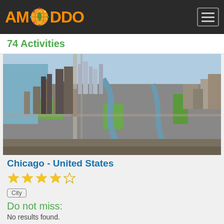AMODDO — navigation header with logo and hamburger menu
74 Activities
[Figure (photo): Aerial photograph of Chicago skyline and city grid, showing skyscrapers, Lake Michigan shoreline to the left, river, and urban infrastructure from above]
Chicago - United States
4 out of 5 stars rating
City
Do not miss:
No results found.
1514 Activities